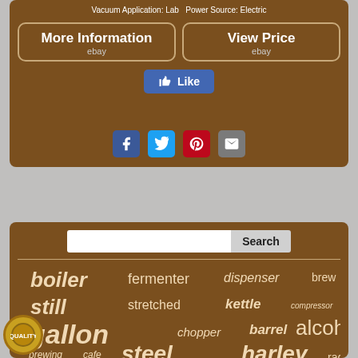Vacuum Application: Lab Power Source: Electric
[Figure (screenshot): Two eBay buttons: 'More Information ebay' and 'View Price ebay', a Facebook Like button, and social share icons (Facebook, Twitter, Pinterest, Email)]
[Figure (infographic): Search box with Search button, horizontal divider, word cloud with terms: boiler, fermenter, dispenser, brew, still, stretched, kettle, compressor, gallon, chopper, barrel, alcohol, brewing, cafe, steel, harley, racer, fuel, trash, black]
[Figure (logo): Circular quality badge logo at bottom left]